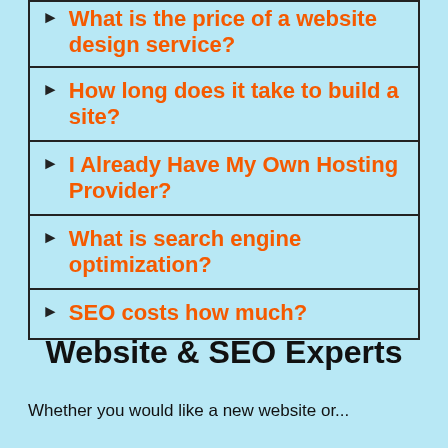What is the price of a website design service?
How long does it take to build a site?
I Already Have My Own Hosting Provider?
What is search engine optimization?
SEO costs how much?
Website & SEO Experts
Whether you would like a new website or...